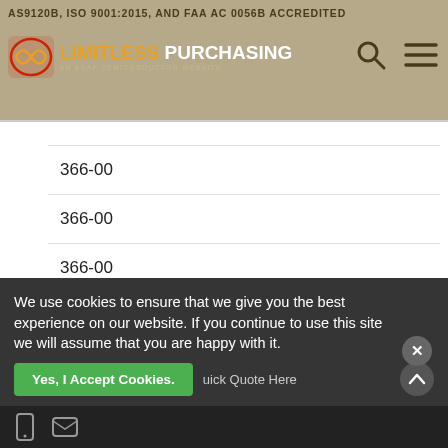AS9120B, ISO 9001:2015, AND FAA AC 0056B ACCREDITED
[Figure (logo): Limitless Purchasing logo with infinity icon, orange and white text on tan background]
| 366-00 |
| 366-00 |
| 366-00 |
| 366-00 |
| 366-00 |
| 366-00-17 |
| 366-00-17 |
We use cookies to ensure that we give you the best experience on our website. If you continue to use this site we will assume that you are happy with it.
Yes, I Accept Cookies.